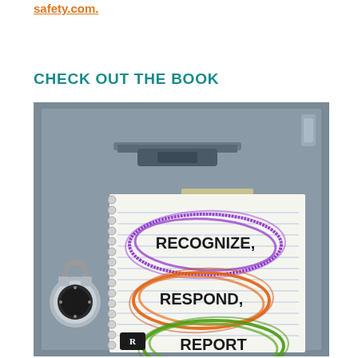safety.com.
CHECK OUT THE BOOK
[Figure (photo): Photo of a school locker with a combination lock. A spiral notebook is taped to the locker door. The notebook cover shows three hand-drawn scribble ovals in purple, orange, and green colors, with the text 'RECOGNIZE, RESPOND, REPORT' written inside the ovals.]